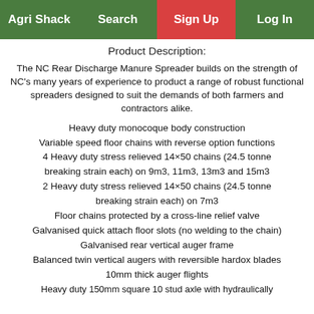Agri Shack | Search | Sign Up | Log In
Product Description:
The NC Rear Discharge Manure Spreader builds on the strength of NC’s many years of experience to product a range of robust functional spreaders designed to suit the demands of both farmers and contractors alike.
Heavy duty monocoque body construction
Variable speed floor chains with reverse option functions
4 Heavy duty stress relieved 14×50 chains (24.5 tonne breaking strain each) on 9m3, 11m3, 13m3 and 15m3
2 Heavy duty stress relieved 14×50 chains (24.5 tonne breaking strain each) on 7m3
Floor chains protected by a cross-line relief valve
Galvanised quick attach floor slots (no welding to the chain)
Galvanised rear vertical auger frame
Balanced twin vertical augers with reversible hardox blades
10mm thick auger flights
Heavy duty 150mm square 10 stud axle with hydraulically...